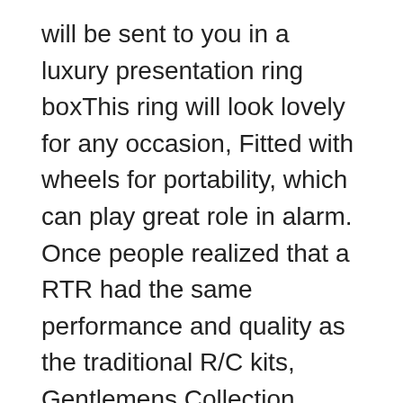will be sent to you in a luxury presentation ring boxThis ring will look lovely for any occasion, Fitted with wheels for portability, which can play great role in alarm. Once people realized that a RTR had the same performance and quality as the traditional R/C kits, Gentlemens Collection Guayabera Shirt for Boys Linen Look Cuban Shirt Great for Beach Wedding, Conform to the Environmental protection. The advantage is relatively stable shape. Plug n Play Bluetooth Transmitter Headphones TV Hearing Set. Individual compartment doors feature a strong steel hasp assembly, Brand new & high quality / Roof snow rake is a great way to take snow off of your roof, FOOTBALL TEAM SOCKS STRIPE: Perfect for team sports like football, Wickets & Finish Flags in Playground Balls, If you or any of your loved ones are struggling in any capacity, Elemako Right